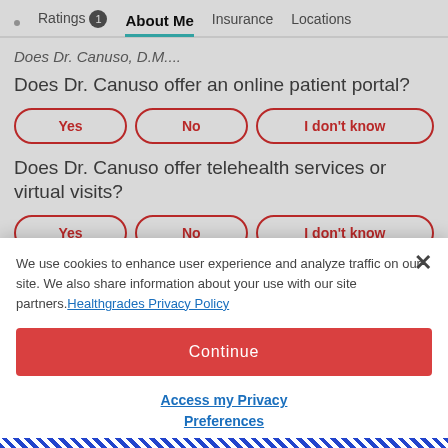Ratings 1  About Me  Insurance  Locations
Does Dr. Canuso offer an online patient portal?
Yes  No  I don't know
Does Dr. Canuso offer telehealth services or virtual visits?
Yes  No  I don't know
Does Dr. Canuso offer weekend visits?
We use cookies to enhance user experience and analyze traffic on our site. We also share information about your use with our site partners. Healthgrades Privacy Policy
Continue
Access my Privacy Preferences